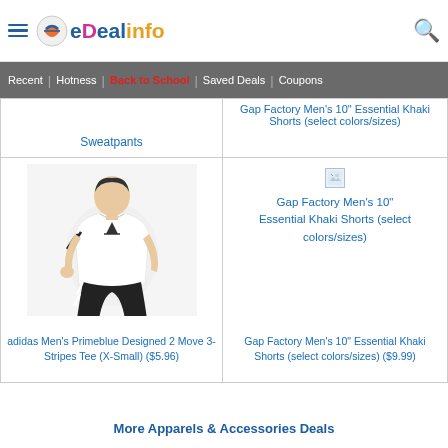eDealinfo - Recent | Hotness | Back to School | Saved Deals | Coupons
Sweatpants
[Figure (photo): Gap Factory Men's 10" Essential Khaki Shorts (select colors/sizes) - broken image icon with title text]
[Figure (photo): adidas Men's Primeblue Designed 2 Move 3-Stripes Tee (X-Small) - man wearing white adidas t-shirt with black shorts]
adidas Men's Primeblue Designed 2 Move 3-Stripes Tee (X-Small) ($5.96)
[Figure (photo): Gap Factory Men's 10" Essential Khaki Shorts (select colors/sizes) - broken image with title]
Gap Factory Men's 10" Essential Khaki Shorts (select colors/sizes) ($9.99)
More Apparels & Accessories Deals